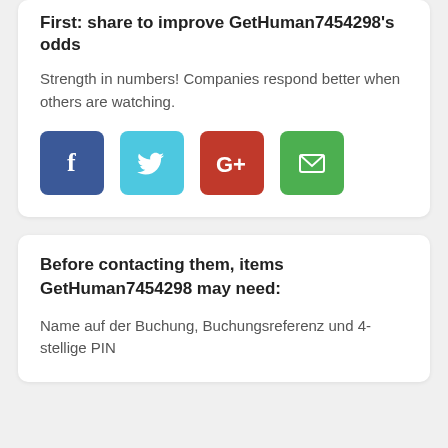First: share to improve GetHuman7454298's odds
Strength in numbers! Companies respond better when others are watching.
[Figure (infographic): Four social sharing buttons: Facebook (blue), Twitter (cyan), Google+ (red), Email (green)]
Before contacting them, items GetHuman7454298 may need:
Name auf der Buchung, Buchungsreferenz und 4-stellige PIN